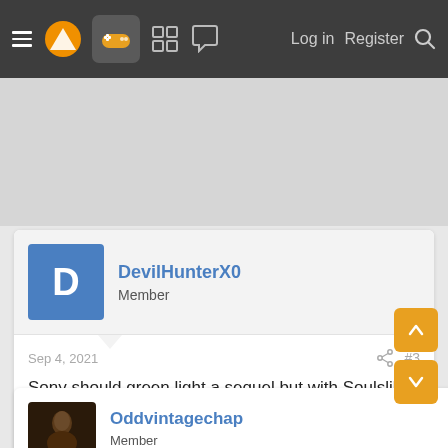Navigation bar with menu, logo, gamepad icon, grid, chat, Log in, Register, Search
[Figure (screenshot): Gray advertisement area]
DevilHunterX0
Member
Sep 4, 2021
#3
Sony should green light a sequel but with Soulslike gameplay mechanics.
Raphael
Oddvintagechap
Member